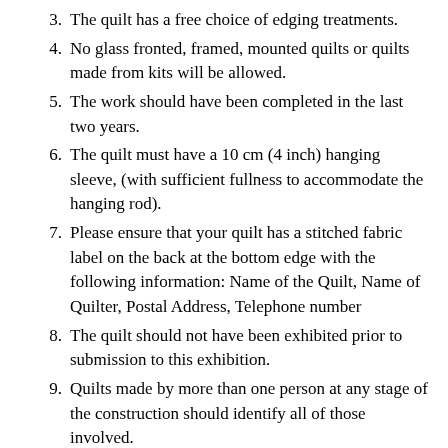3. The quilt has a free choice of edging treatments.
4. No glass fronted, framed, mounted quilts or quilts made from kits will be allowed.
5. The work should have been completed in the last two years.
6. The quilt must have a 10 cm (4 inch) hanging sleeve, (with sufficient fullness to accommodate the hanging rod).
7. Please ensure that your quilt has a stitched fabric label on the back at the bottom edge with the following information: Name of the Quilt, Name of Quilter, Postal Address, Telephone number
8. The quilt should not have been exhibited prior to submission to this exhibition.
9. Quilts made by more than one person at any stage of the construction should identify all of those involved.